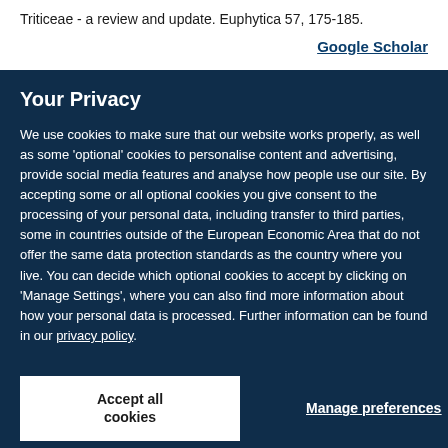Triticeae - a review and update. Euphytica 57, 175-185.
Google Scholar
Your Privacy
We use cookies to make sure that our website works properly, as well as some ‘optional’ cookies to personalise content and advertising, provide social media features and analyse how people use our site. By accepting some or all optional cookies you give consent to the processing of your personal data, including transfer to third parties, some in countries outside of the European Economic Area that do not offer the same data protection standards as the country where you live. You can decide which optional cookies to accept by clicking on ‘Manage Settings’, where you can also find more information about how your personal data is processed. Further information can be found in our privacy policy.
Accept all cookies
Manage preferences